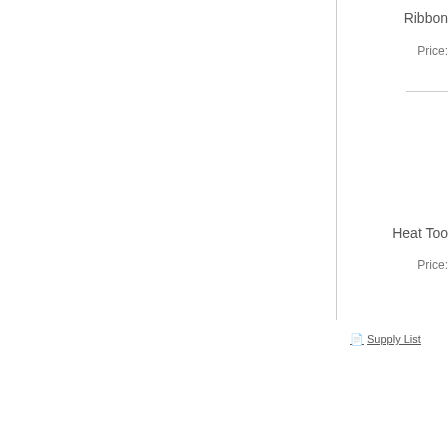Ribbon
Price:
Heat Too
Price:
Supply List